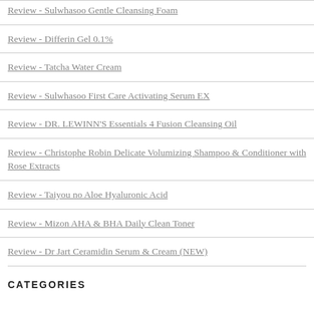Review - Sulwhasoo Gentle Cleansing Foam
Review - Differin Gel 0.1%
Review - Tatcha Water Cream
Review - Sulwhasoo First Care Activating Serum EX
Review - DR. LEWINN'S Essentials 4 Fusion Cleansing Oil
Review - Christophe Robin Delicate Volumizing Shampoo & Conditioner with Rose Extracts
Review - Taiyou no Aloe Hyaluronic Acid
Review - Mizon AHA & BHA Daily Clean Toner
Review - Dr Jart Ceramidin Serum & Cream (NEW)
CATEGORIES